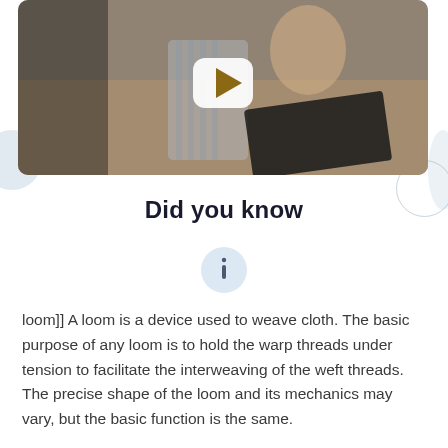[Figure (screenshot): Video thumbnail showing a woman sitting on a couch working on a laptop, with a YouTube play button overlay in the center]
Did you know
[Figure (illustration): Info icon in a light blue circle]
loom]] A loom is a device used to weave cloth. The basic purpose of any loom is to hold the warp threads under tension to facilitate the interweaving of the weft threads. The precise shape of the loom and its mechanics may vary, but the basic function is the same.